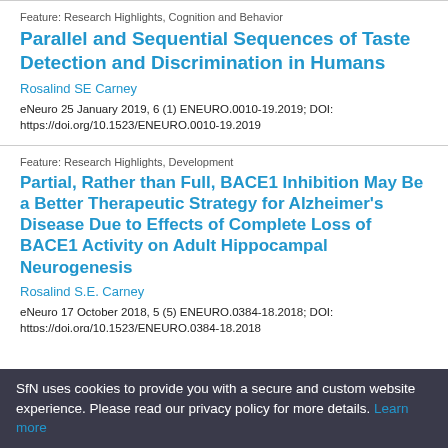Feature: Research Highlights, Cognition and Behavior
Parallel and Sequential Sequences of Taste Detection and Discrimination in Humans
Rosalind SE Carney
eNeuro 25 January 2019, 6 (1) ENEURO.0010-19.2019; DOI: https://doi.org/10.1523/ENEURO.0010-19.2019
Feature: Research Highlights, Development
Partial, Rather than Full, BACE1 Inhibition May Be a Better Therapeutic Strategy for Alzheimer’s Disease Due to Effects of Complete Loss of BACE1 Activity on Adult Hippocampal Neurogenesis
Rosalind S.E. Carney
eNeuro 17 October 2018, 5 (5) ENEURO.0384-18.2018; DOI: https://doi.org/10.1523/ENEURO.0384-18.2018
SfN uses cookies to provide you with a secure and custom website experience. Please read our privacy policy for more details. Learn more